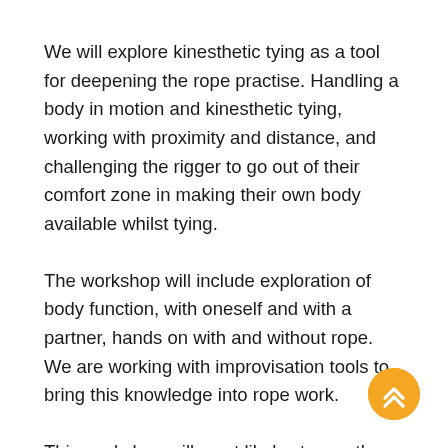We will explore kinesthetic tying as a tool for deepening the rope practise. Handling a body in motion and kinesthetic tying, working with proximity and distance, and challenging the rigger to go out of their comfort zone in making their own body available whilst tying.
The workshop will include exploration of body function, with oneself and with a partner, hands on with and without rope. We are working with improvisation tools to bring this knowledge into rope work.
This workshop will most likely stay on the floor and is open to all levels. Basic rope knowledge is required though, as knots and frictions won´t be
[Figure (other): Orange circular button with double up-arrow chevron icon (scroll-to-top or navigation button)]